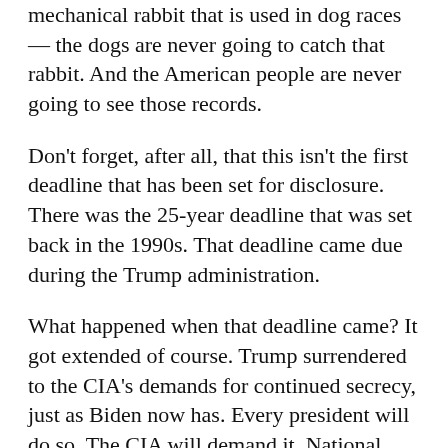mechanical rabbit that is used in dog races — the dogs are never going to catch that rabbit. And the American people are never going to see those records.
Don't forget, after all, that this isn't the first deadline that has been set for disclosure. There was the 25-year deadline that was set back in the 1990s. That deadline came due during the Trump administration.
What happened when that deadline came? It got extended of course. Trump surrendered to the CIA's demands for continued secrecy, just as Biden now has. Every president will do so. The CIA will demand it. National security depends on it!
Ever since Kennedy was assassinated, there has been a segment of society that has fallen for the official story — that a lone nut communist former U.S. Marine shot and killed the president. This segment has also